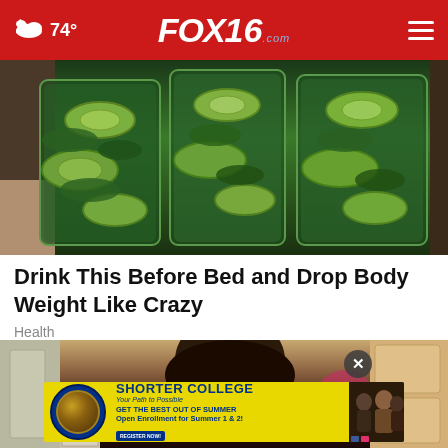74° FOX16.com
[Figure (photo): Three blender cups filled with green cucumber and spinach drink]
Drink This Before Bed and Drop Body Weight Like Crazy
Health
[Figure (photo): Person in kitchen, partially obscured by advertisement overlay]
[Figure (infographic): Shorter College advertisement banner - yellow background with lion logo, text: SHORTER COLLEGE, Your Path to Possible, GET THE BEST OUT OF SUMMER, Open Enrollment for Summer 1 & 2!, REGISTER NOW!]